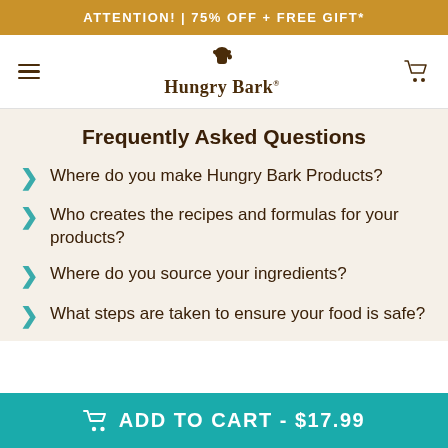ATTENTION! | 75% OFF + FREE GIFT*
[Figure (logo): Hungry Bark logo with dog silhouette icon and brand name text]
Frequently Asked Questions
Where do you make Hungry Bark Products?
Who creates the recipes and formulas for your products?
Where do you source your ingredients?
What steps are taken to ensure your food is safe?
ADD TO CART - $17.99